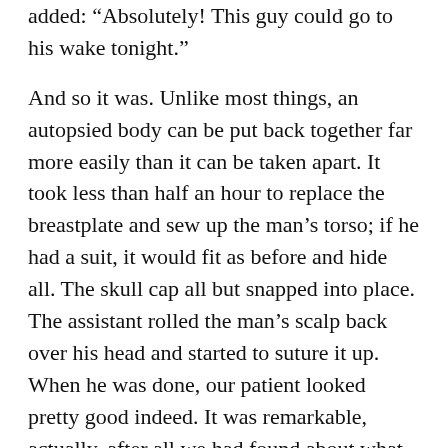added: “Absolutely! This guy could go to his wake tonight.”
And so it was. Unlike most things, an autopsied body can be put back together far more easily than it can be taken apart. It took less than half an hour to replace the breastplate and sew up the man’s torso; if he had a suit, it would fit as before and hide all. The skull cap all but snapped into place. The assistant rolled the man’s scalp back over his head and started to suture it up. When he was done, our patient looked pretty good indeed. It was remarkable, actually, after all we had found about what ailed him, that he should still gaze at the ceiling, unchanged and none the wiser.
Fewer Autopsies Mean Crucial Info Goes To The Grave : NPR
The New York Times Magazine: Postmortem